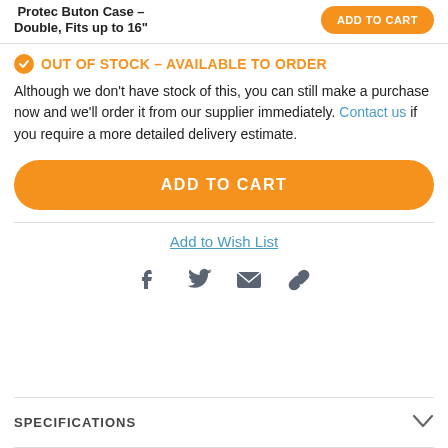Protec Buton Case - Double, Fits up to 16"
ADD TO CART
OUT OF STOCK - AVAILABLE TO ORDER
Although we don't have stock of this, you can still make a purchase now and we'll order it from our supplier immediately. Contact us if you require a more detailed delivery estimate.
ADD TO CART
Add to Wish List
[Figure (infographic): Social sharing icons: Facebook, Twitter, Email, Link]
SPECIFICATIONS